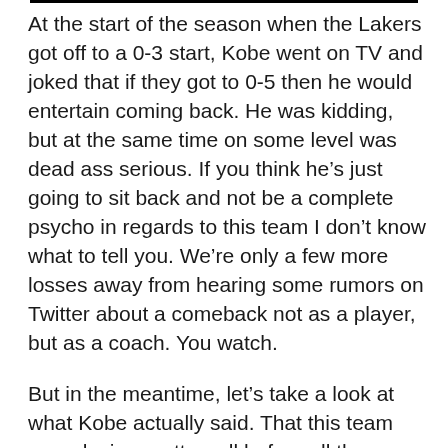At the start of the season when the Lakers got off to a 0-3 start, Kobe went on TV and joked that if they got to 0-5 then he would entertain coming back. He was kidding, but at the same time on some level was dead ass serious. If you think he’s just going to sit back and not be a complete psycho in regards to this team I don’t know what to tell you. We’re only a few more losses away from hearing some rumors on Twitter about a comeback not as a player, but as a coach. You watch.
But in the meantime, let’s take a look at what Kobe actually said. That this team was playing pretty well before all the injuries. Again, since when has “pretty [redacted] of that, i[redacted]the